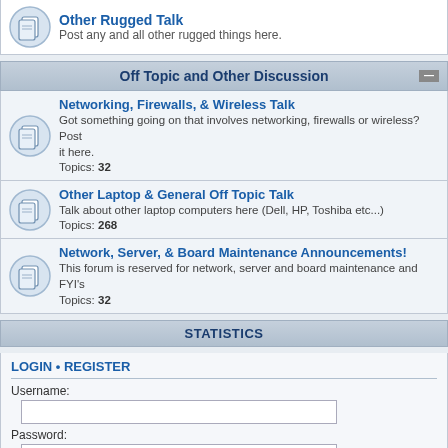Other Rugged Talk
Post any and all other rugged things here.
Off Topic and Other Discussion
Networking, Firewalls, & Wireless Talk
Got something going on that involves networking, firewalls or wireless? Post it here.
Topics: 32
Other Laptop & General Off Topic Talk
Talk about other laptop computers here (Dell, HP, Toshiba etc...)
Topics: 268
Network, Server, & Board Maintenance Announcements!
This forum is reserved for network, server and board maintenance and FYI's
Topics: 32
STATISTICS
LOGIN • REGISTER
Username:
Password:
I forgot my password
Remember me
WHO IS ONLINE
In total there are 17 users online :: 0 registered, 0 hidden and 17 guests (based on